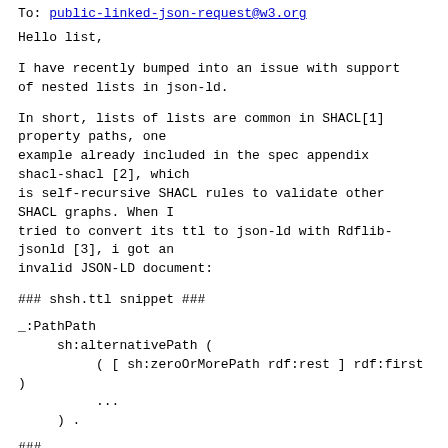To: public-linked-json-request@w3.org
Hello list,
I have recently bumped into an issue with support
of nested lists in json-ld.
In short, lists of lists are common in SHACL[1]
property paths, one
example already included in the spec appendix
shacl-shacl [2], which
is self-recursive SHACL rules to validate other
SHACL graphs. When I
tried to convert its ttl to json-ld with Rdflib-
jsonld [3], i got an
invalid JSON-LD document:
### shsh.ttl snippet ###
_:PathPath
     sh:alternativePath (
          ( [ sh:zeroOrMorePath rdf:rest ] rdf:first
)
          ...
     ) .
###
### produced shsh.jsonld snippet ###